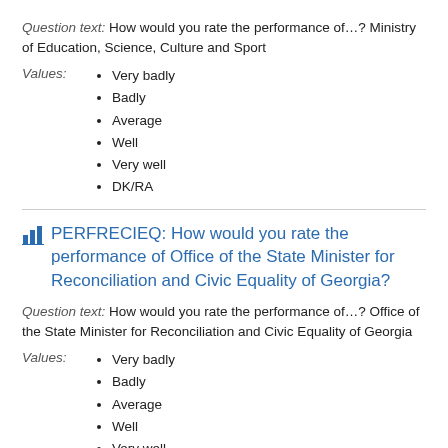Question text: How would you rate the performance of…? Ministry of Education, Science, Culture and Sport
Values:
Very badly
Badly
Average
Well
Very well
DK/RA
PERFRECIEQ: How would you rate the performance of Office of the State Minister for Reconciliation and Civic Equality of Georgia?
Question text: How would you rate the performance of…? Office of the State Minister for Reconciliation and Civic Equality of Georgia
Values:
Very badly
Badly
Average
Well
Very well
DK/RA